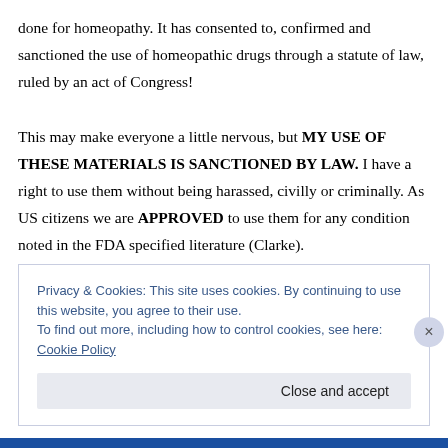done for homeopathy. It has consented to, confirmed and sanctioned the use of homeopathic drugs through a statute of law, ruled by an act of Congress!

This may make everyone a little nervous, but MY USE OF THESE MATERIALS IS SANCTIONED BY LAW. I have a right to use them without being harassed, civilly or criminally. As US citizens we are APPROVED to use them for any condition noted in the FDA specified literature (Clarke).
Privacy & Cookies: This site uses cookies. By continuing to use this website, you agree to their use.
To find out more, including how to control cookies, see here: Cookie Policy
Close and accept